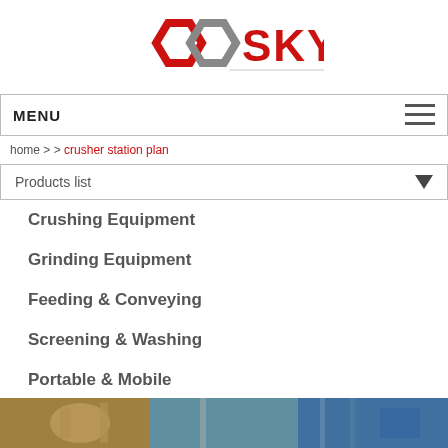[Figure (logo): SKY company logo with two interlocking hexagonal rings in red and gray, followed by the word SKY in large red letters]
MENU
home > > crusher station plan
Products list
Crushing Equipment
Grinding Equipment
Feeding & Conveying
Screening & Washing
Portable & Mobile
Beneficiation Equipment
[Figure (photo): Industrial plant equipment photo strip at the bottom of the page]